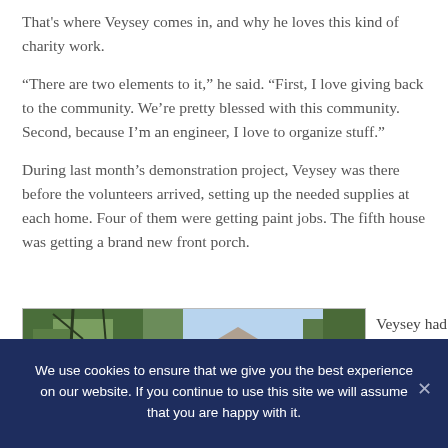That's where Veysey comes in, and why he loves this kind of charity work.
“There are two elements to it,” he said. “First, I love giving back to the community. We’re pretty blessed with this community. Second, because I’m an engineer, I love to organize stuff.”
During last month’s demonstration project, Veysey was there before the volunteers arrived, setting up the needed supplies at each home. Four of them were getting paint jobs. The fifth house was getting a brand new front porch.
[Figure (photo): Outdoor photo showing trees and a house with blue sky, partially cropped]
Veysey had 24 ladders
We use cookies to ensure that we give you the best experience on our website. If you continue to use this site we will assume that you are happy with it.